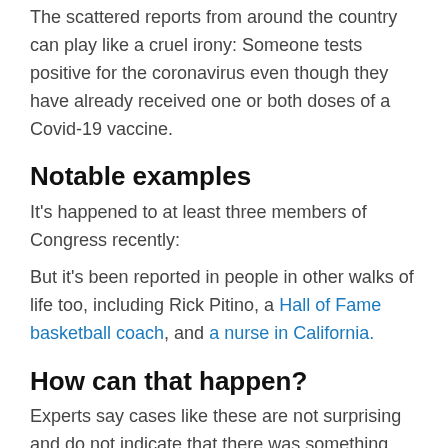The scattered reports from around the country can play like a cruel irony: Someone tests positive for the coronavirus even though they have already received one or both doses of a Covid-19 vaccine.
Notable examples
It's happened to at least three members of Congress recently:
But it's been reported in people in other walks of life too, including Rick Pitino, a Hall of Fame basketball coach, and a nurse in California.
How can that happen?
Experts say cases like these are not surprising and do not indicate that there was something wrong with the vaccines or how they were administered. Here is why.